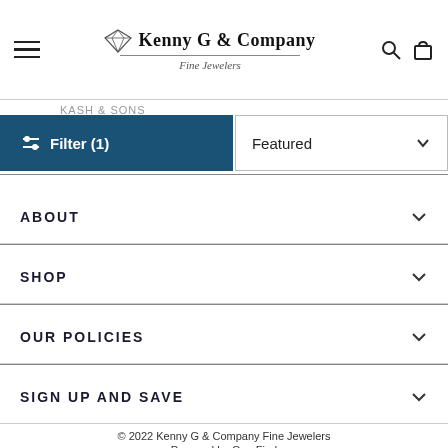Kenny G & Company Fine Jewelers
Filter (1)
Featured
ABOUT
SHOP
OUR POLICIES
SIGN UP AND SAVE
© 2022 Kenny G & Company Fine Jewelers
Powered by GemFind